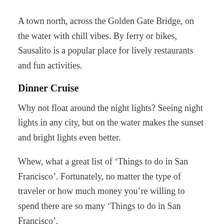A town north, across the Golden Gate Bridge, on the water with chill vibes. By ferry or bikes, Sausalito is a popular place for lively restaurants and fun activities.
Dinner Cruise
Why not float around the night lights? Seeing night lights in any city, but on the water makes the sunset and bright lights even better.
Whew, what a great list of ‘Things to do in San Francisco’. Fortunately, no matter the type of traveler or how much money you’re willing to spend there are so many ‘Things to do in San Francisco’,